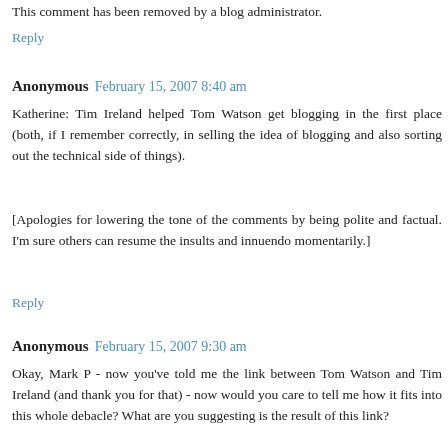This comment has been removed by a blog administrator.
Reply
Anonymous  February 15, 2007 8:40 am
Katherine: Tim Ireland helped Tom Watson get blogging in the first place (both, if I remember correctly, in selling the idea of blogging and also sorting out the technical side of things).
[Apologies for lowering the tone of the comments by being polite and factual. I'm sure others can resume the insults and innuendo momentarily.]
Reply
Anonymous  February 15, 2007 9:30 am
Okay, Mark P - now you've told me the link between Tom Watson and Tim Ireland (and thank you for that) - now would you care to tell me how it fits into this whole debacle? What are you suggesting is the result of this link?